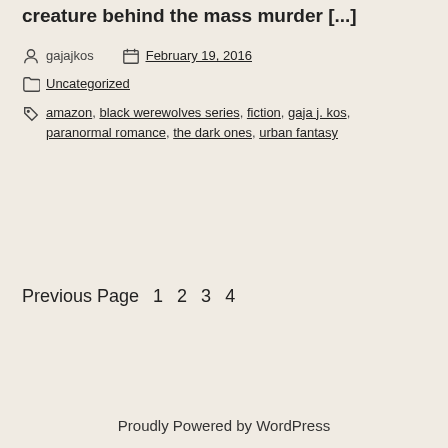creature behind the mass murder [...]
gajajkos  February 19, 2016
Uncategorized
amazon, black werewolves series, fiction, gaja j. kos, paranormal romance, the dark ones, urban fantasy
Previous Page  1 2 3 4
Proudly Powered by WordPress